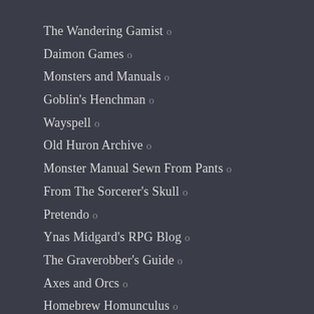The Wandering Gamist o
Daimon Games o
Monsters and Manuals o
Goblin's Henchman o
Wayspell o
Old Huron Archive o
Monster Manual Sewn From Pants o
From The Sorcerer's Skull o
Pretendo o
Ynas Midgard's RPG Blog o
The Graverobber's Guide o
Axes and Orcs o
Homebrew Homunculus o